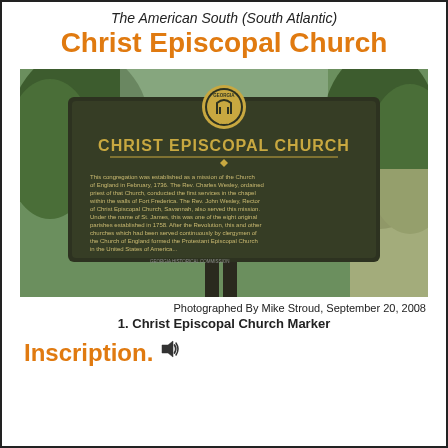The American South (South Atlantic)
Christ Episcopal Church
[Figure (photo): Photograph of a Georgia Historical Commission marker for Christ Episcopal Church, a dark green metal sign with gold lettering reading 'CHRIST EPISCOPAL CHURCH' with a Georgia state seal at top, and historical inscription text below, mounted on a post amid trees.]
Photographed By Mike Stroud, September 20, 2008
1. Christ Episcopal Church Marker
Inscription.